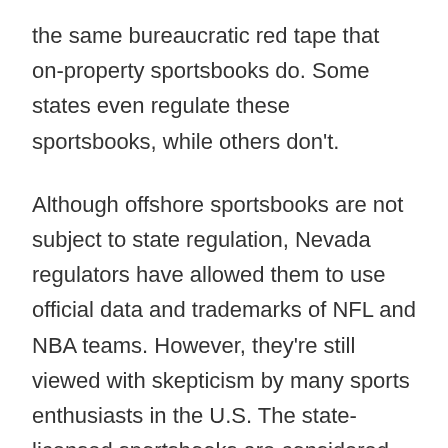the same bureaucratic red tape that on-property sportsbooks do. Some states even regulate these sportsbooks, while others don't.
Although offshore sportsbooks are not subject to state regulation, Nevada regulators have allowed them to use official data and trademarks of NFL and NBA teams. However, they're still viewed with skepticism by many sports enthusiasts in the U.S. The state-licensed sportsbooks are considered more reliable. So, should you place a bet on a particular team or event? It is a legitimate question to ask.